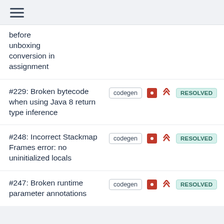≡
before unboxing conversion in assignment
#229: Broken bytecode when using Java 8 return type inference — codegen — RESOLVED
#248: Incorrect Stackmap Frames error: no uninitialized locals — codegen — RESOLVED
#247: Broken runtime parameter annotations — codegen — RESOLVED